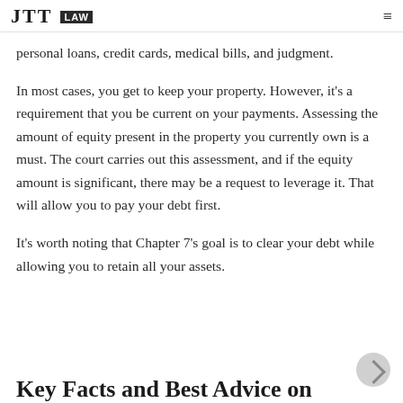JTT LAW
personal loans, credit cards, medical bills, and judgment.
In most cases, you get to keep your property. However, it's a requirement that you be current on your payments. Assessing the amount of equity present in the property you currently own is a must. The court carries out this assessment, and if the equity amount is significant, there may be a request to leverage it. That will allow you to pay your debt first.
It's worth noting that Chapter 7's goal is to clear your debt while allowing you to retain all your assets.
Key Facts and Best Advice on